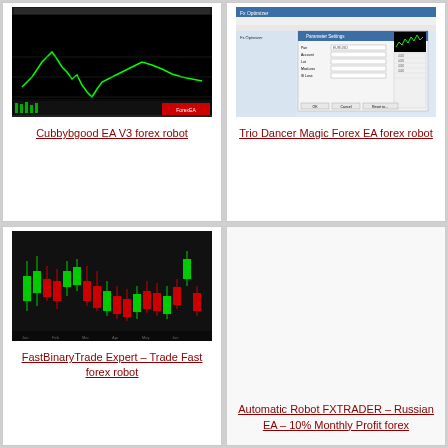[Figure (screenshot): Forex trading chart screenshot showing a green line chart on black background with candlestick-like price movements, labeled Cubbybgood EA V3 forex robot]
Cubbybgood EA V3 forex robot
[Figure (screenshot): Trading software settings dialog screenshot with form fields and parameters table on light blue Windows-style interface, labeled Trio Dancer Magic Forex EA forex robot]
Trio Dancer Magic Forex EA forex robot
[Figure (screenshot): Candlestick chart screenshot on black background showing green and red candlesticks with price movements, labeled FastBinaryTrade Expert – Trade Fast forex robot]
FastBinaryTrade Expert – Trade Fast forex robot
Automatic Robot FXTRADER – Russian EA – 10% Monthly Profit forex